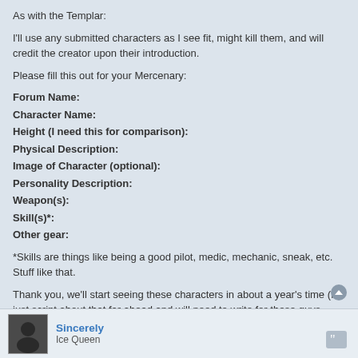As with the Templar:
I'll use any submitted characters as I see fit, might kill them, and will credit the creator upon their introduction.
Please fill this out for your Mercenary:
Forum Name:
Character Name:
Height (I need this for comparison):
Physical Description:
Image of Character (optional):
Personality Description:
Weapon(s):
Skill(s)*:
Other gear:
*Skills are things like being a good pilot, medic, mechanic, sneak, etc. Stuff like that.
Thank you, we'll start seeing these characters in about a year's time (I just script about that far ahead and will need to write for these guys soon)
Sincerely
Ice Queen